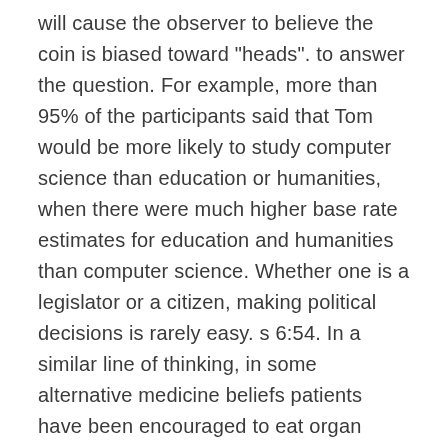will cause the observer to believe the coin is biased toward "heads". to answer the question. For example, more than 95% of the participants said that Tom would be more likely to study computer science than education or humanities, when there were much higher base rate estimates for education and humanities than computer science. Whether one is a legislator or a citizen, making political decisions is rarely easy. s 6:54. In a similar line of thinking, in some alternative medicine beliefs patients have been encouraged to eat organ meat that corresponds to their medical disorder. Is the stranger more likely to have a PhD, or to not have a college degree? Political trust – in government, parliament, or political parties – has taken centre stage in political science for more than half a century, reflecting ongoing concerns with the legitimacy and